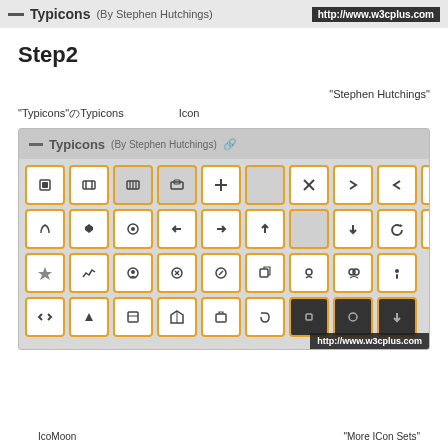— Typicons (By Stephen Hutchings) http://www.w3cplus.com
Step2
"Stephen Hutchings"
"Typicons"のTypicons（Icon）
[Figure (screenshot): Screenshot of Typicons icon set UI panel by Stephen Hutchings, showing a grid of icon buttons with orange borders on a gray background, with a watermark url http://www.w3cplus.com]
IcoMoon
"More ICon Sets"